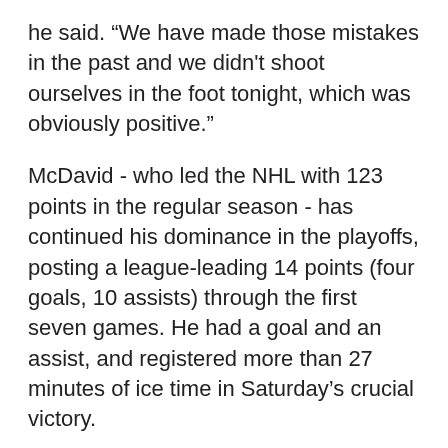he said. “We have made those mistakes in the past and we didn't shoot ourselves in the foot tonight, which was obviously positive.”
McDavid - who led the NHL with 123 points in the regular season - has continued his dominance in the playoffs, posting a league-leading 14 points (four goals, 10 assists) through the first seven games. He had a goal and an assist, and registered more than 27 minutes of ice time in Saturday’s crucial victory.
“Our best players have been our best players in this series,” said goalie Mike Smith, who made 29 saves for his second shutout of the postseason in Game 7. “And if you want to get through one of the hardest rounds, your best